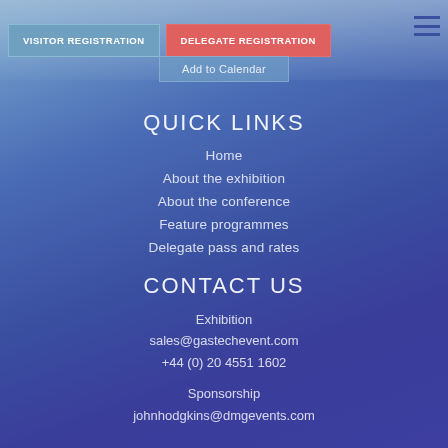VISITOR REGISTRATION | DELEGATE REGISTRATION
Add to Calendar
QUICK LINKS
Home
About the exhibition
About the conference
Feature programmes
Delegate pass and rates
CONTACT US
Exhibition
sales@gastechevent.com
+44 (0) 20 4551 1602
Sponsorship
johnhodgkins@dmgevents.com